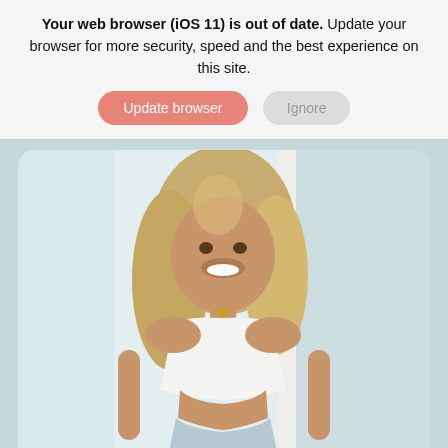Your web browser (iOS 11) is out of date. Update your browser for more security, speed and the best experience on this site.
[Figure (other): Two UI buttons: a salmon/pink rounded button labeled 'Update browser' and a light gray rounded button labeled 'Ignore']
[Figure (photo): Photo of a smiling blonde woman wearing a white crop top and light blue/gray leggings, standing in a doorway with a bright airy background]